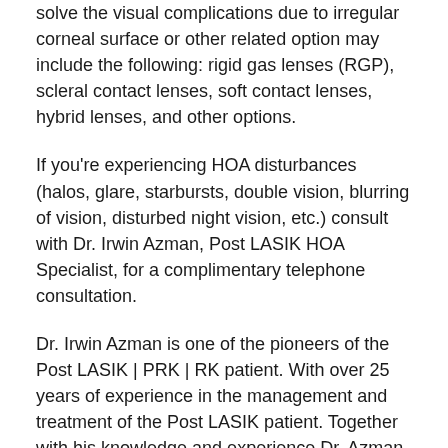solve the visual complications due to irregular corneal surface or other related option may include the following: rigid gas lenses (RGP), scleral contact lenses, soft contact lenses, hybrid lenses, and other options.
If you're experiencing HOA disturbances (halos, glare, starbursts, double vision, blurring of vision, disturbed night vision, etc.) consult with Dr. Irwin Azman, Post LASIK HOA Specialist, for a complimentary telephone consultation.
Dr. Irwin Azman is one of the pioneers of the Post LASIK | PRK | RK patient. With over 25 years of experience in the management and treatment of the Post LASIK patient. Together with his knowledge and experience Dr. Azman is able to prescribe each patient with the proper solution in resolving their Post LASIK complications, including starburst, glare, dry eye, and other LASIK complications.
Serving the following areas since 1975: